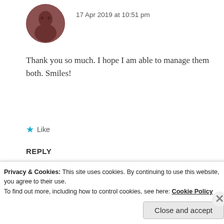[Figure (photo): Circular avatar image of a person with reddish-brown tones, top-left area of comment]
17 Apr 2019 at 10:51 pm
Thank you so much. I hope I am able to manage them both. Smiles!
★ Like
REPLY
[Figure (photo): Circular avatar with dolphin and moon image, blue tones, for user DELPHINI510]
DELPHINI510
17 Apr 2019 at 11:24 am
Privacy & Cookies: This site uses cookies. By continuing to use this website, you agree to their use.
To find out more, including how to control cookies, see here: Cookie Policy
Close and accept